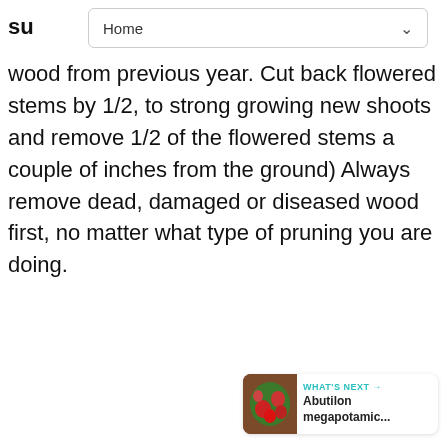Home
wood from previous year. Cut back flowered stems by 1/2, to strong growing new shoots and remove 1/2 of the flowered stems a couple of inches from the ground) Always remove dead, damaged or diseased wood first, no matter what type of pruning you are doing.
[Figure (other): Gray content area with social interaction buttons: heart/like button (teal circle with heart icon), count of 1, share button (circle with share icon), and a 'What's Next' card showing Abutilon megapotamic... with a thumbnail image]